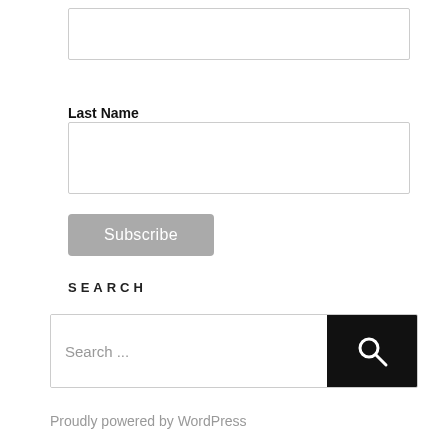Last Name
Subscribe
SEARCH
Search ...
Proudly powered by WordPress